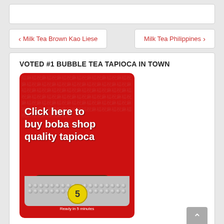[Figure (other): White top bar / header area]
‹ Milk Tea Brown Kao Liese
Milk Tea Philippines ›
VOTED #1 BUBBLE TEA TAPIOCA IN TOWN
[Figure (photo): Red bag of Tapioca Pearl product with Chinese characters. Overlaid text reads 'Click here to buy boba shop quality tapioca'. Bottom of bag shows tapioca pearls, a yellow '5' badge indicating 5 minutes cook time. Label on bag: Tapioca Pearl.]